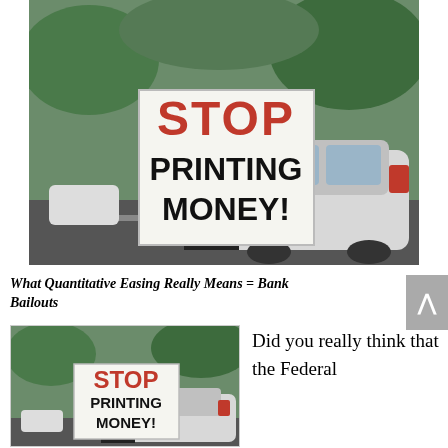[Figure (photo): Woman standing outdoors on a road beside a white car holding a large handmade sign that reads 'STOP PRINTING MONEY!' in large red and black letters. Green vegetation visible in background.]
What Quantitative Easing Really Means = Bank Bailouts
[Figure (photo): Same woman holding the 'STOP PRINTING MONEY!' sign, smaller thumbnail version of the same photo.]
Did you really think that the Federal